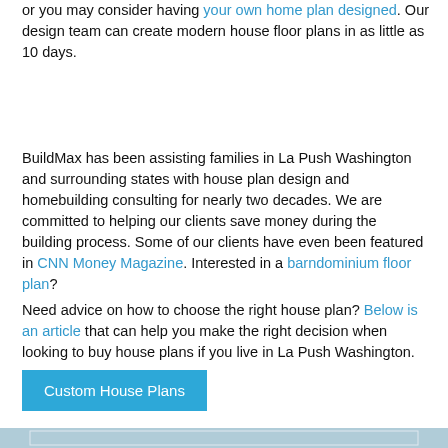or you may consider having your own home plan designed. Our design team can create modern house floor plans in as little as 10 days.
BuildMax has been assisting families in La Push Washington and surrounding states with house plan design and homebuilding consulting for nearly two decades. We are committed to helping our clients save money during the building process. Some of our clients have even been featured in CNN Money Magazine. Interested in a barndominium floor plan?
Need advice on how to choose the right house plan? Below is an article that can help you make the right decision when looking to buy house plans if you live in La Push Washington.
Custom House Plans
[Figure (photo): Partial photo of a house with trees and sky visible at the bottom of the page]